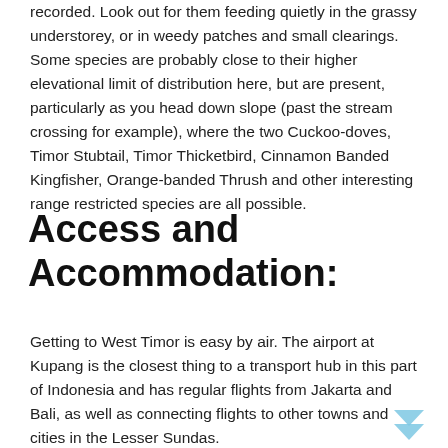recorded. Look out for them feeding quietly in the grassy understorey, or in weedy patches and small clearings. Some species are probably close to their higher elevational limit of distribution here, but are present, particularly as you head down slope (past the stream crossing for example), where the two Cuckoo-doves, Timor Stubtail, Timor Thicketbird, Cinnamon Banded Kingfisher, Orange-banded Thrush and other interesting range restricted species are all possible.
Access and Accommodation:
Getting to West Timor is easy by air. The airport at Kupang is the closest thing to a transport hub in this part of Indonesia and has regular flights from Jakarta and Bali, as well as connecting flights to other towns and cities in the Lesser Sundas.